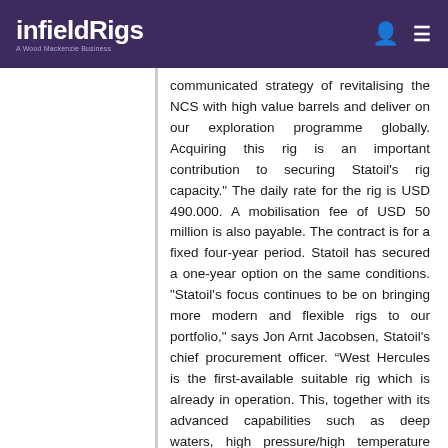infieldRigs — A Wood Mackenzie Business
communicated strategy of revitalising the NCS with high value barrels and deliver on our exploration programme globally. Acquiring this rig is an important contribution to securing Statoil's rig capacity." The daily rate for the rig is USD 490.000. A mobilisation fee of USD 50 million is also payable. The contract is for a fixed four-year period. Statoil has secured a one-year option on the same conditions. "Statoil's focus continues to be on bringing more modern and flexible rigs to our portfolio," says Jon Arnt Jacobsen, Statoil's chief procurement officer. “West Hercules is the first-available suitable rig which is already in operation. This, together with its advanced capabilities such as deep waters, high pressure/high temperature and completion, has prompted Statoil to act on this opportunity. This modern rig will be complementary to our portfolio and bring us more flexibility. It will be utilised on targeted wells internationally and on the NCS.” West Hercules is a sixth generation, high